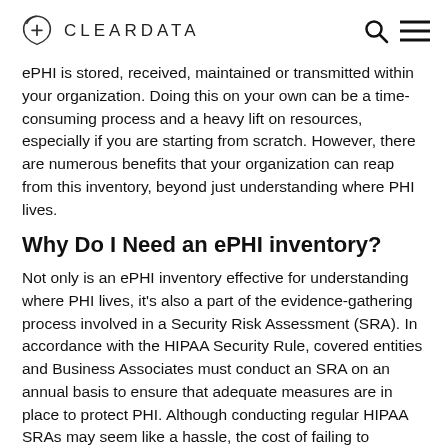CLEARDATA
ePHI is stored, received, maintained or transmitted within your organization. Doing this on your own can be a time-consuming process and a heavy lift on resources, especially if you are starting from scratch. However, there are numerous benefits that your organization can reap from this inventory, beyond just understanding where PHI lives.
Why Do I Need an ePHI inventory?
Not only is an ePHI inventory effective for understanding where PHI lives, it's also a part of the evidence-gathering process involved in a Security Risk Assessment (SRA). In accordance with the HIPAA Security Rule, covered entities and Business Associates must conduct an SRA on an annual basis to ensure that adequate measures are in place to protect PHI. Although conducting regular HIPAA SRAs may seem like a hassle, the cost of failing to conduct them and therefore failing to remediate risks is much worse.